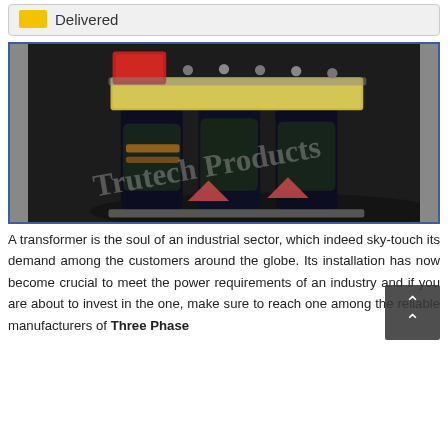Delivered
[Figure (photo): Photo of a three-phase transformer with black core and coils, red component on top, gold/beige top plate with terminals, watermark text 'Trutech Products' overlaid diagonally.]
A transformer is the soul of an industrial sector, which indeed sky-touch its demand among the customers around the globe. Its installation has now become crucial to meet the power requirements of an industry and if you are about to invest in the one, make sure to reach one among the reliable manufacturers of Three Phase